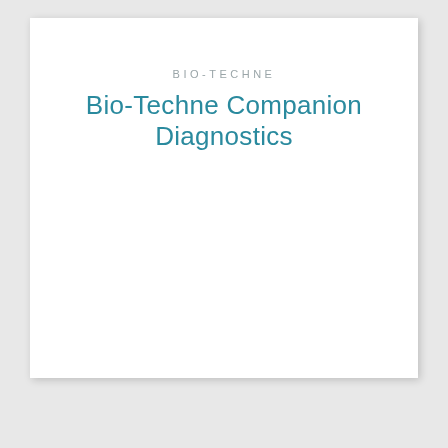BIO-TECHNE
Bio-Techne Companion Diagnostics